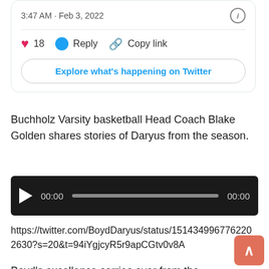3:47 AM · Feb 3, 2022
18   Reply   Copy link
Explore what's happening on Twitter
Buchholz Varsity basketball Head Coach Blake Golden shares stories of Daryus from the season.
[Figure (other): Audio player with play button, timestamp 00:00, progress bar, and end time 00:00 on dark background]
https://twitter.com/BoydDaryus/status/1514349967762202630?s=20&t=94iYgjcyR5r9apCGtv0v8A
Boyd's excellence carries over from the hardwood to the gridiron as Boyd anchors the Bobcats' defense. Boyd started as an outside linebacker for a 12-2, 7A Final Four team. After only playing football for two years, Boyd recorded 44 tackles, 34 solo, and came in second on the team with 18 tackles for loss and eight